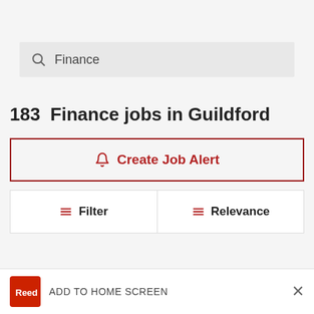[Figure (screenshot): Search bar with magnifying glass icon and text 'Finance']
183  Finance jobs in Guildford
[Figure (other): Create Job Alert button with bell icon, red border]
[Figure (other): Filter and Relevance buttons row]
[Figure (other): Add to Home Screen banner with red brand logo and X close button]